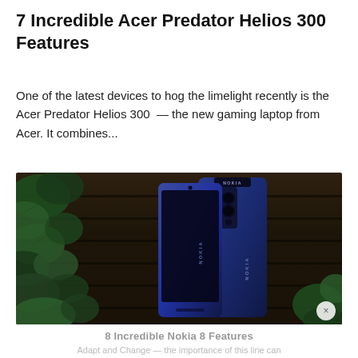7 Incredible Acer Predator Helios 300 Features
One of the latest devices to hog the limelight recently is the Acer Predator Helios 300 — the new gaming laptop from Acer. It combines...
[Figure (photo): Nokia 8 smartphone shown from the back with dual camera module, displayed against a wooden plank background with green ivy leaves on the left side. A close button (×) appears in the bottom right corner of the image.]
8 Incredible Nokia 8 Features
Adapt and Change — the importance of this line can